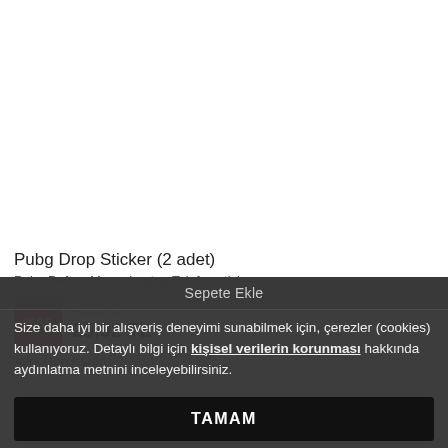[Figure (photo): White/empty product image area at top of page]
Pubg Drop Sticker (2 adet)
Pubg Defter, Masa, Leptop Telefon sticker.
%35 discount badge, original price 40,00 TL, sale price 25,92 TL
Aynı Gün Kargo
Sepete Ekle
Size daha iyi bir alışveriş deneyimi sunabilmek için, çerezler (cookies) kullanıyoruz. Detaylı bilgi için kişisel verilerin korunması hakkında aydınlatma metnini inceleyebilirsiniz.
TAMAM